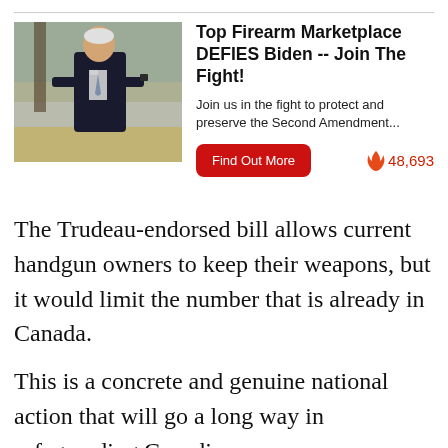[Figure (photo): A man in a dark suit holding what appears to be a small object, outdoors with trees and yellow flowers in the background.]
Top Firearm Marketplace DEFIES Biden -- Join The Fight!
Join us in the fight to protect and preserve the Second Amendment...
Find Out More
🔥 48,693
The Trudeau-endorsed bill allows current handgun owners to keep their weapons, but it would limit the number that is already in Canada.
This is a concrete and genuine national action that will go a long way in safeguarding Canadians...